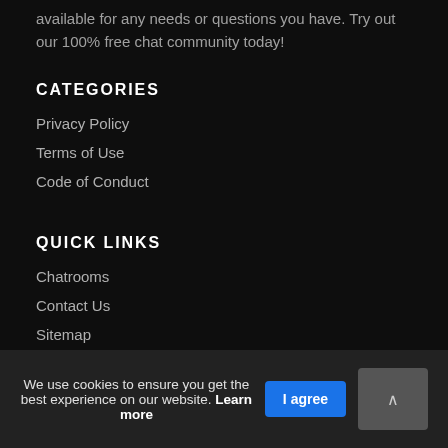available for any needs or questions you have. Try out our 100% free chat community today!
CATEGORIES
Privacy Policy
Terms of Use
Code of Conduct
QUICK LINKS
Chatrooms
Contact Us
Sitemap
We use cookies to ensure you get the best experience on our website. Learn more  I agree